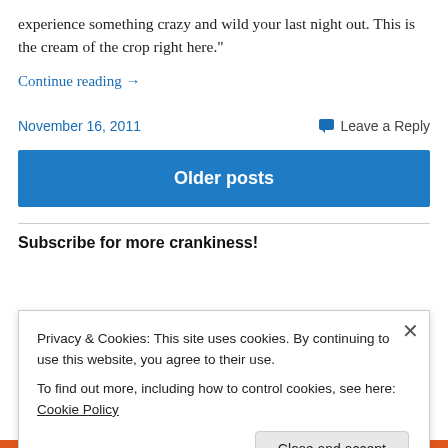experience something crazy and wild your last night out. This is the cream of the crop right here."
Continue reading →
November 16, 2011
Leave a Reply
Older posts
Subscribe for more crankiness!
Privacy & Cookies: This site uses cookies. By continuing to use this website, you agree to their use.
To find out more, including how to control cookies, see here: Cookie Policy
Close and accept